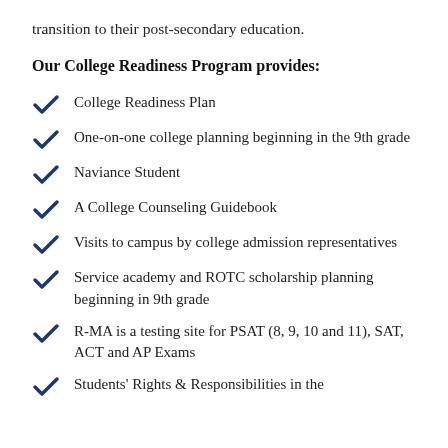transition to their post-secondary education.
Our College Readiness Program provides:
College Readiness Plan
One-on-one college planning beginning in the 9th grade
Naviance Student
A College Counseling Guidebook
Visits to campus by college admission representatives
Service academy and ROTC scholarship planning beginning in 9th grade
R-MA is a testing site for PSAT (8, 9, 10 and 11), SAT, ACT and AP Exams
Students' Rights & Responsibilities in the